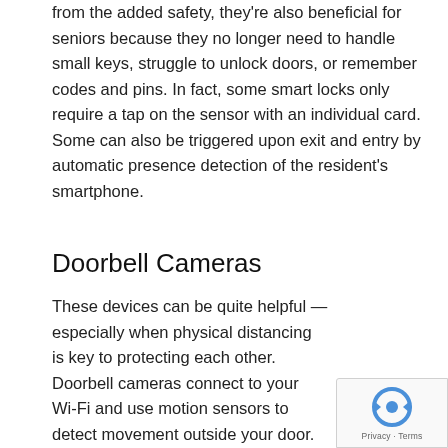from the added safety, they're also beneficial for seniors because they no longer need to handle small keys, struggle to unlock doors, or remember codes and pins. In fact, some smart locks only require a tap on the sensor with an individual card. Some can also be triggered upon exit and entry by automatic presence detection of the resident's smartphone.
Doorbell Cameras
These devices can be quite helpful — especially when physical distancing is key to protecting each other. Doorbell cameras connect to your Wi-Fi and use motion sensors to detect movement outside your door. They also record high-quality videos of